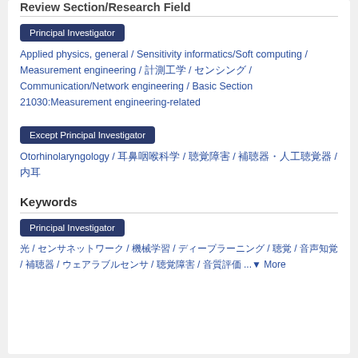Review Section/Research Field
Principal Investigator
Applied physics, general / Sensitivity informatics/Soft computing / Measurement engineering / 計測工学 / センシング / Communication/Network engineering / Basic Section 21030:Measurement engineering-related
Except Principal Investigator
Otorhinolaryngology / 耳鼻咽喉科学 / 聴覚障害 / 補聴器・人工聴覚器 / 内耳
Keywords
Principal Investigator
光 / センサネットワーク / 機械学習 / ディープラーニング / 聴覚 / 音声知覚 / 補聴器 / ウェアラブルセンサ / 聴覚障害 / 音質評価 ... More